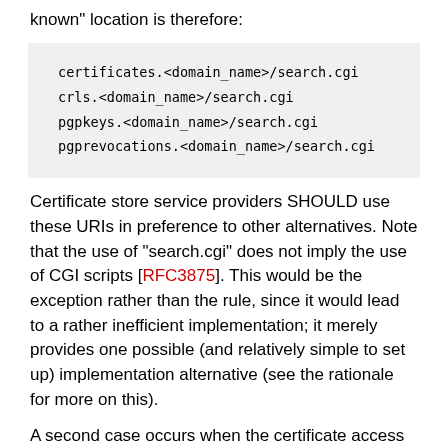known" location is therefore:
certificates.<domain_name>/search.cgi
crls.<domain_name>/search.cgi
pgpkeys.<domain_name>/search.cgi
pgprevocations.<domain_name>/search.cgi
Certificate store service providers SHOULD use these URIs in preference to other alternatives. Note that the use of "search.cgi" does not imply the use of CGI scripts [RFC3875]. This would be the exception rather than the rule, since it would lead to a rather inefficient implementation; it merely provides one possible (and relatively simple to set up) implementation alternative (see the rationale for more on this).
A second case occurs when the certificate access service is being provided by web-enabled embedded devices, such as Universal Plug and Play devices [UPNP]. These devices have a single, fixed net loc (either an IP address or a DNS